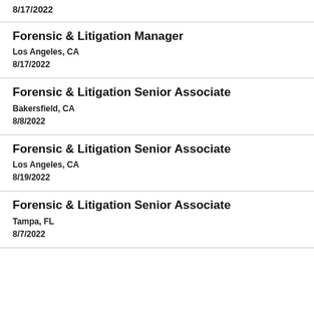8/17/2022
Forensic & Litigation Manager
Los Angeles, CA
8/17/2022
Forensic & Litigation Senior Associate
Bakersfield, CA
8/8/2022
Forensic & Litigation Senior Associate
Los Angeles, CA
8/19/2022
Forensic & Litigation Senior Associate
Tampa, FL
8/7/2022